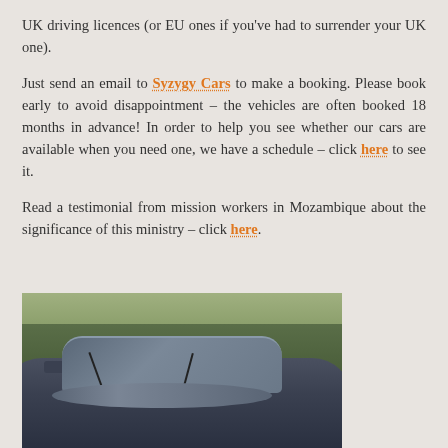UK driving licences (or EU ones if you've had to surrender your UK one).
Just send an email to Syzygy Cars to make a booking. Please book early to avoid disappointment – the vehicles are often booked 18 months in advance! In order to help you see whether our cars are available when you need one, we have a schedule – click here to see it.
Read a testimonial from mission workers in Mozambique about the significance of this ministry – click here.
[Figure (photo): A dark coloured car photographed from the front, parked outdoors with trees and shrubs visible in the background.]